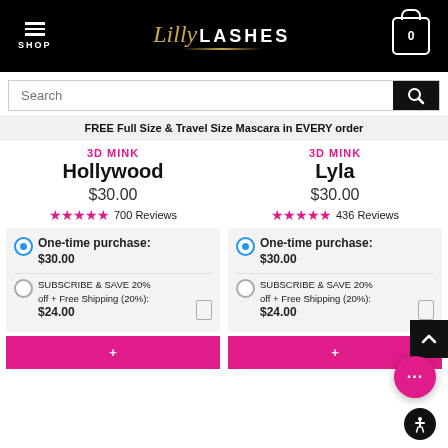SHOP | Lilly LASHES | Cart 0
Search
FREE Full Size & Travel Size Mascara in EVERY order
3D MINK Hollywood $30.00 ★★★★★ 700 Reviews
3D MINK Lyla $30.00 ★★★★★ 436 Reviews
One-time purchase: $30.00
SUBSCRIBE & SAVE 20% off + Free Shipping (20%): $24.00
One-time purchase: $30.00
SUBSCRIBE & SAVE 20% off + Free Shipping (20%): $24.00